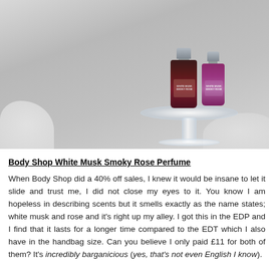[Figure (photo): Two Body Shop White Musk Smoky Rose perfume bottles (one dark/wine colored, one purple) placed on a glass cake stand on a white fur background]
Body Shop White Musk Smoky Rose Perfume
When Body Shop did a 40% off sales, I knew it would be insane to let it slide and trust me, I did not close my eyes to it. You know I am hopeless in describing scents but it smells exactly as the name states; white musk and rose and it's right up my alley. I got this in the EDP and I find that it lasts for a longer time compared to the EDT which I also have in the handbag size. Can you believe I only paid £11 for both of them? It's incredibly barganicious (yes, that's not even English I know).